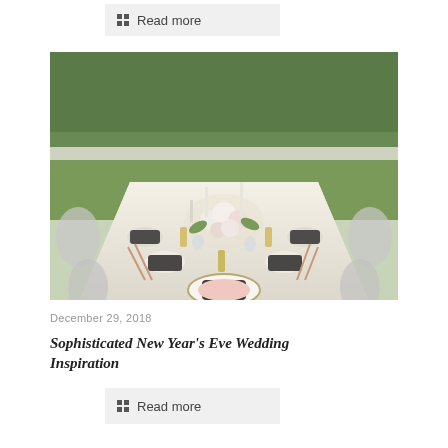Read more
[Figure (photo): Elegant outdoor wedding table setting with white floral centerpieces, clear ghost chairs, black napkins, gold-rimmed chargers, rose gold cutlery, and small champagne bottles on a green lawn background.]
December 29, 2018
Sophisticated New Year’s Eve Wedding Inspiration
Read more